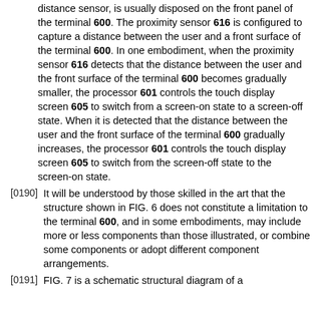distance sensor, is usually disposed on the front panel of the terminal 600. The proximity sensor 616 is configured to capture a distance between the user and a front surface of the terminal 600. In one embodiment, when the proximity sensor 616 detects that the distance between the user and the front surface of the terminal 600 becomes gradually smaller, the processor 601 controls the touch display screen 605 to switch from a screen-on state to a screen-off state. When it is detected that the distance between the user and the front surface of the terminal 600 gradually increases, the processor 601 controls the touch display screen 605 to switch from the screen-off state to the screen-on state.
[0190] It will be understood by those skilled in the art that the structure shown in FIG. 6 does not constitute a limitation to the terminal 600, and in some embodiments, may include more or less components than those illustrated, or combine some components or adopt different component arrangements.
[0191] FIG. 7 is a schematic structural diagram of a